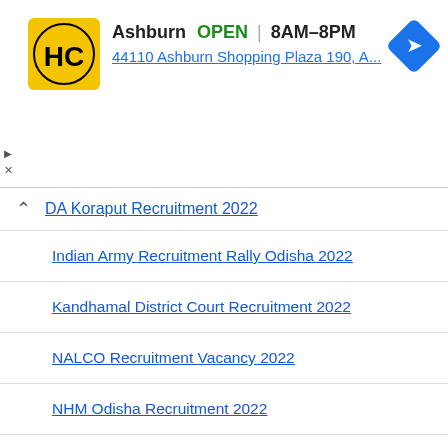[Figure (infographic): Advertisement banner: HC logo (yellow/black), Ashburn OPEN 8AM-8PM, 44110 Ashburn Shopping Plaza 190, A..., with navigation arrow icon]
DA Koraput Recruitment 2022
Indian Army Recruitment Rally Odisha 2022
Kandhamal District Court Recruitment 2022
NALCO Recruitment Vacancy 2022
NHM Odisha Recruitment 2022
OAVS Latest Recruitment 2022
Odisha Air Force Rally 2022
Odisha Mining Corporation Limited Vacancy 2022